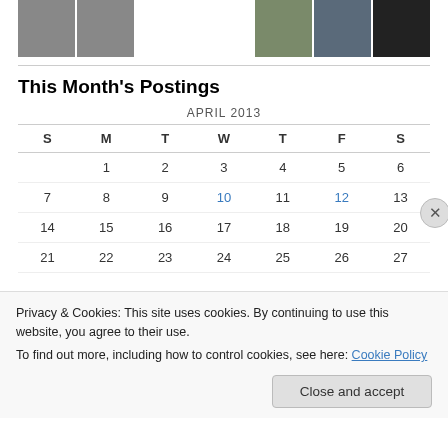[Figure (photo): Row of thumbnail images at top — dark portrait, green geometric pattern, and others at right side]
This Month's Postings
| S | M | T | W | T | F | S |
| --- | --- | --- | --- | --- | --- | --- |
|  | 1 | 2 | 3 | 4 | 5 | 6 |
| 7 | 8 | 9 | 10 | 11 | 12 | 13 |
| 14 | 15 | 16 | 17 | 18 | 19 | 20 |
| 21 | 22 | 23 | 24 | 25 | 26 | 27 |
Privacy & Cookies: This site uses cookies. By continuing to use this website, you agree to their use.
To find out more, including how to control cookies, see here: Cookie Policy
Close and accept